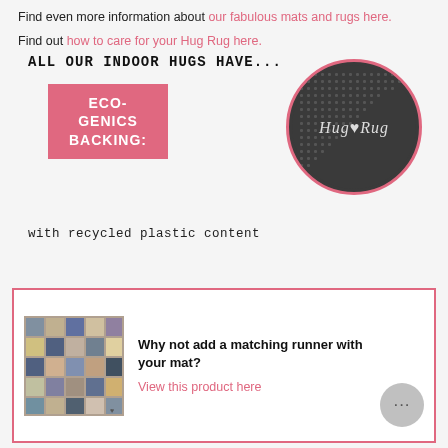Find even more information about our fabulous mats and rugs here.
Find out how to care for your Hug Rug here.
[Figure (infographic): Infographic showing 'ALL OUR INDOOR HUGS HAVE...' text with a pink badge saying 'ECO-GENICS BACKING:' and a circular photo of a rubber mat backing with HugRug logo, and text 'with recycled plastic content']
[Figure (photo): Matching runner mat product image - a patchwork square mat in blues, beiges and greys - with text 'Why not add a matching runner with your mat?' and a link 'View this product here']